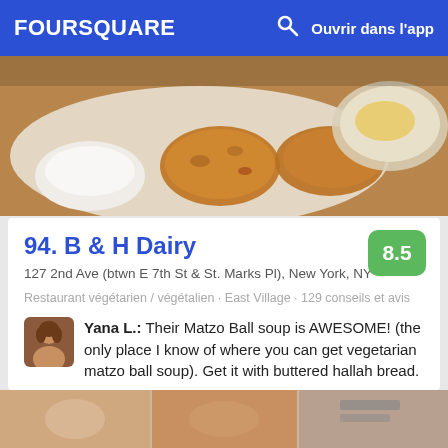FOURSQUARE   Ouvrir dans l'app
[Figure (photo): Food photo showing fried latkes/potato pancakes with sour cream dipping sauce and other dishes in background]
94. B & H Dairy
127 2nd Ave (btwn E 7th St & St. Marks Pl), New York, NY
Restaurant végétarien / végétalien · East Village · 129 conseils et avis
Yana L.: Their Matzo Ball soup is AWESOME! (the only place I know of where you can get vegetarian matzo ball soup). Get it with buttered hallah bread.
[Figure (photo): Bottom strip showing partial food photos]